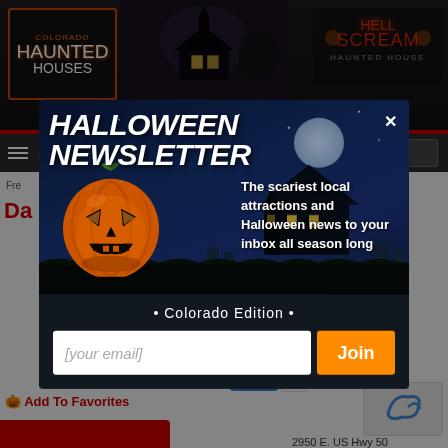[Figure (screenshot): Colorado Haunted Houses website background with dark header, navigation menu, and page content partially visible behind modal overlay]
[Figure (infographic): Halloween Newsletter modal popup with pumpkin illustration, haunted house background, email signup form. Title: HALLOWEEN NEWSLETTER. Description text: The scariest local attractions and Halloween news to your inbox all season long. Colorado Edition. Email input field with [your email] placeholder and orange Join button with X close button.]
• Colorado Edition •
[your email]
Join
Add To Favorites
2950 E. US Hwy 50